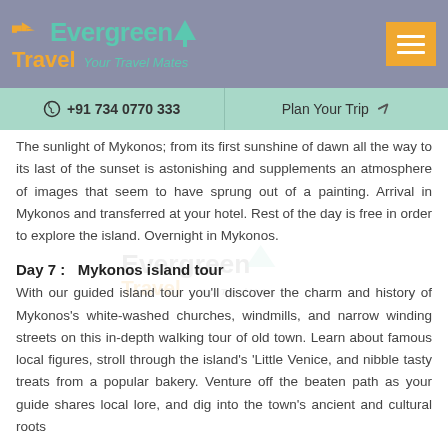Evergreen Travel — Your Travel Mates
+91 734 0770 333 | Plan Your Trip
The sunlight of Mykonos; from its first sunshine of dawn all the way to its last of the sunset is astonishing and supplements an atmosphere of images that seem to have sprung out of a painting. Arrival in Mykonos and transferred at your hotel. Rest of the day is free in order to explore the island. Overnight in Mykonos.
Day 7 :   Mykonos island tour
With our guided island tour you'll discover the charm and history of Mykonos's white-washed churches, windmills, and narrow winding streets on this in-depth walking tour of old town. Learn about famous local figures, stroll through the island's 'Little Venice, and nibble tasty treats from a popular bakery. Venture off the beaten path as your guide shares local lore, and dig into the town's ancient and cultural roots